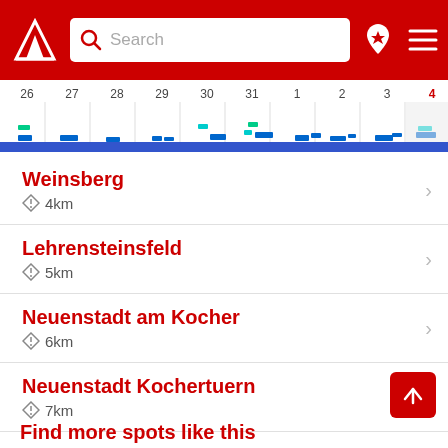[Figure (screenshot): Mobile app header with red background, white logo (triangular arrow), search box, location pin icon with star, and hamburger menu icon]
[Figure (bar-chart): Timeline chart showing dates 26-4]
Weinsberg
4km
Lehrensteinsfeld
5km
Neuenstadt am Kocher
6km
Neuenstadt Kochertuern
7km
Find more spots like this